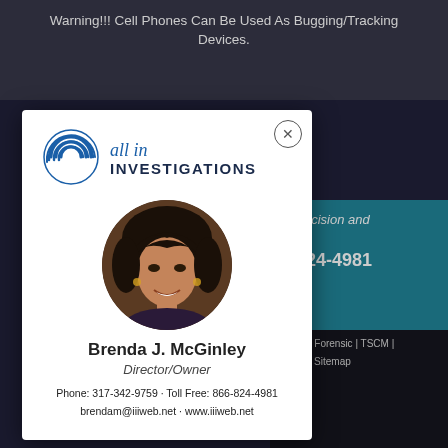Warning!!! Cell Phones Can Be Used As Bugging/Tracking Devices.
[Figure (photo): All In Investigations company logo with circular fingerprint/wave icon and company name]
[Figure (photo): Circular portrait photo of Brenda J. McGinley, a woman with short dark hair, smiling]
Brenda J. McGinley
Director/Owner
Phone: 317-342-9759 · Toll Free: 866-824-4981
brendam@iiiweb.net · www.iiiweb.net